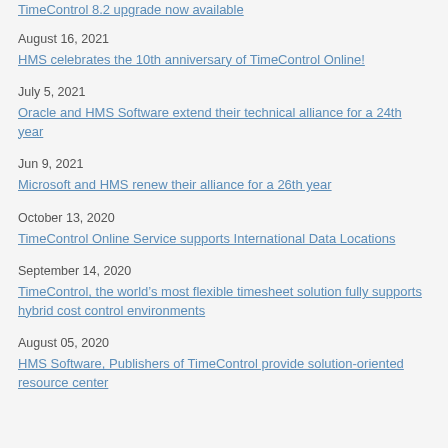TimeControl 8.2 upgrade now available
August 16, 2021
HMS celebrates the 10th anniversary of TimeControl Online!
July 5, 2021
Oracle and HMS Software extend their technical alliance for a 24th year
Jun 9, 2021
Microsoft and HMS renew their alliance for a 26th year
October 13, 2020
TimeControl Online Service supports International Data Locations
September 14, 2020
TimeControl, the world’s most flexible timesheet solution fully supports hybrid cost control environments
August 05, 2020
HMS Software, Publishers of TimeControl provide solution-oriented resource center